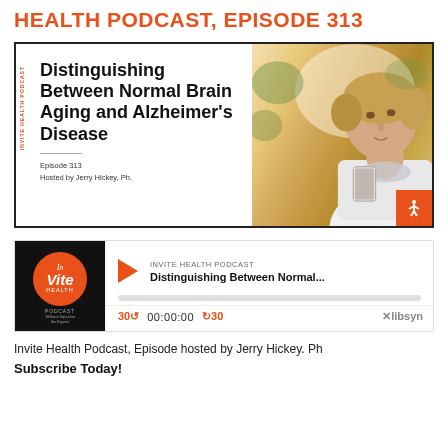HEALTH PODCAST, EPISODE 313
[Figure (screenshot): Podcast thumbnail image showing text 'Distinguishing Between Normal Brain Aging and Alzheimer's Disease', Episode 313, Hosted by Jerry Hickey, Ph., with InVite Health Podcast branding on left and a woman looking at a smartphone on the right]
[Figure (screenshot): Podcast audio player widget showing InVite Health Podcast logo, play button, episode title 'Distinguishing Between Normal...', progress bar, controls showing 30 second rewind, 00:00:00 timestamp, 30 second forward, and libsyn branding]
Invite Health Podcast, Episode hosted by Jerry Hickey. Ph
Subscribe Today!